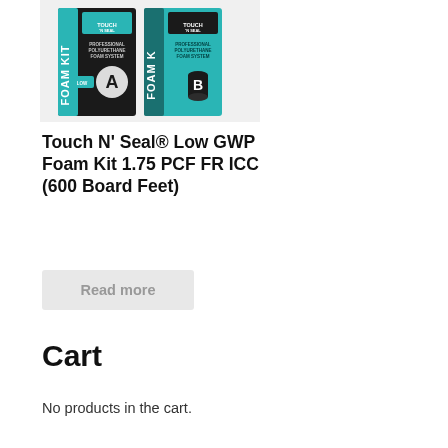[Figure (photo): Touch N Seal Low GWP Foam Kit product image showing two boxes labeled A and B, black and teal colored, professional polyurethane foam system]
Touch N’ Seal® Low GWP Foam Kit 1.75 PCF FR ICC (600 Board Feet)
Read more
Cart
No products in the cart.